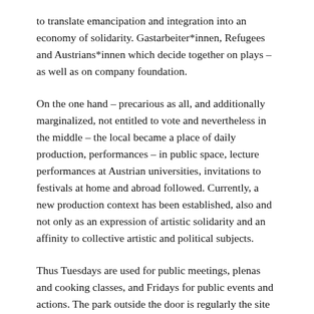to translate emancipation and integration into an economy of solidarity. Gastarbeiter*innen, Refugees and Austrians*innen which decide together on plays – as well as on company foundation.
On the one hand – precarious as all, and additionally marginalized, not entitled to vote and nevertheless in the middle – the local became a place of daily production, performances – in public space, lecture performances at Austrian universities, invitations to festivals at home and abroad followed. Currently, a new production context has been established, also and not only as an expression of artistic solidarity and an affinity to collective artistic and political subjects.
Thus Tuesdays are used for public meetings, plenas and cooking classes, and Fridays for public events and actions. The park outside the door is regularly the site of